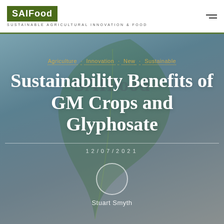SAIFood — SUSTAINABLE AGRICULTURAL INNOVATION & FOOD
Agriculture · Innovation · New · Sustainable
Sustainability Benefits of GM Crops and Glyphosate
12/07/2021
Stuart Smyth